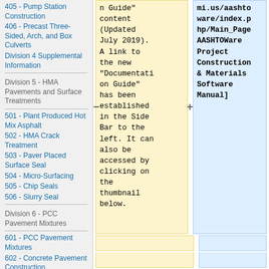405 - Pump Station Construction
406 - Precast Three-Sided, Arch, and Box Culverts
Division 4 Supplemental Information
Division 5 - HMA Pavements and Surface Treatments
501 - Plant Produced Hot Mix Asphalt
502 - HMA Crack Treatment
503 - Paver Placed Surface Seal
504 - Micro-Surfacing
505 - Chip Seals
506 - Slurry Seal
Division 6 - PCC Pavement Mixtures
601 - PCC Pavement Mixtures
602 - Concrete Pavement Construction
n Guide" content (Updated July 2019). A link to the new "Documentation Guide" has been established in the Side Bar to the left. It can also be accessed by clicking on the thumbnail below.
mi.us/aashto ware/index.p hp/Main_Page AASHTOWare Project Construction & Materials Software Manual]